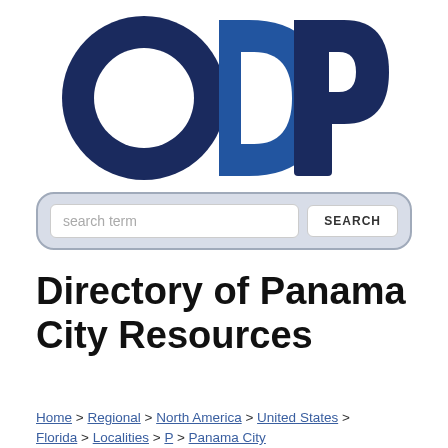[Figure (logo): ODP logo — large dark navy and blue letters O, D, P with overlapping style on white background]
search term  SEARCH
Directory of Panama City Resources
Home > Regional > North America > United States > Florida > Localities > P > Panama City